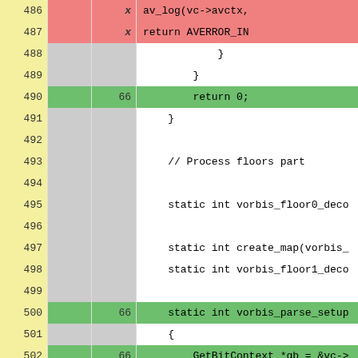| Line | Marker | Count | Code |
| --- | --- | --- | --- |
| 486 | ✗ |  | av_log(vc->avctx, |
| 487 | ✗ |  | return AVERROR_IN |
| 488 |  |  |             } |
| 489 |  |  |         } |
| 490 | 66 |  |         return 0; |
| 491 |  |  |     } |
| 492 |  |  |  |
| 493 |  |  |     // Process floors part |
| 494 |  |  |  |
| 495 |  |  |     static int vorbis_floor0_deco |
| 496 |  |  |  |
| 497 |  |  |     static int create_map(vorbis_ |
| 498 |  |  |     static int vorbis_floor1_deco |
| 499 |  |  |  |
| 500 | 66 |  |     static int vorbis_parse_setup |
| 501 |  |  |     { |
| 502 | 66 |  |         GetBitContext *gb = &vc-> |
| 503 |  |  |         int i, j, k, ret; |
| 504 |  |  |  |
| 505 | 66 |  |         vc->floor_count = get_bit |
| 506 |  |  |  |
| 507 | 66 |  |         vc->floors = av_mallocz(v |
| 508 | ▶ 1/2 | 66 |         if (!vc->floors) |
| 509 | ✗ |  |             return AVERROR(ENOMEM |
| 510 |  |  |  |
| 511 | ▶ 2/2 | 198 |         for (i = 0; i < vc->floor |